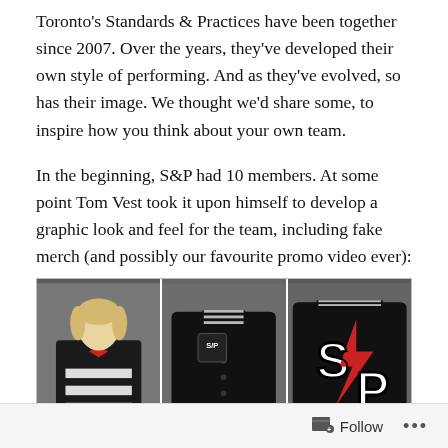Toronto's Standards & Practices have been together since 2007. Over the years, they've developed their own style of performing. And as they've evolved, so has their image. We thought we'd share some, to inspire how you think about your own team.
In the beginning, S&P had 10 members. At some point Tom Vest took it upon himself to develop a graphic look and feel for the team, including fake merch (and possibly our favourite promo video ever):
[Figure (photo): Three-panel photo strip showing improv team merchandise. Left panel: person in black cardigan with white horizontal stripes and red bow tie. Middle panel: front of black varsity bomber jacket with red lightning bolt and S/P patch on chest. Right panel: back of black varsity bomber jacket showing large S/P logo with red lightning bolt between the letters.]
Follow ...